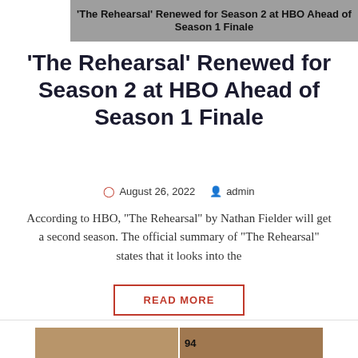[Figure (screenshot): Gray banner with article title text: 'The Rehearsal' Renewed for Season 2 at HBO Ahead of Season 1 Finale]
'The Rehearsal' Renewed for Season 2 at HBO Ahead of Season 1 Finale
August 26, 2022  admin
According to HBO, "The Rehearsal" by Nathan Fielder will get a second season. The official summary of "The Rehearsal" states that it looks into the
READ MORE
[Figure (photo): Side-by-side video screenshot showing two men, one bald on the left and one larger man on the right near a jersey with number 94]